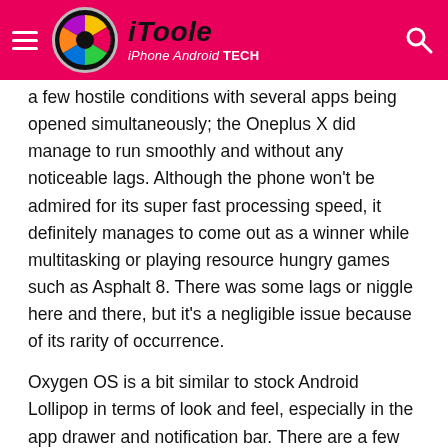iToole — iPhone Android TECH
a few hostile conditions with several apps being opened simultaneously; the Oneplus X did manage to run smoothly and without any noticeable lags. Although the phone won't be admired for its super fast processing speed, it definitely manages to come out as a winner while multitasking or playing resource hungry games such as Asphalt 8. There was some lags or niggle here and there, but it's a negligible issue because of its rarity of occurrence.
Oxygen OS is a bit similar to stock Android Lollipop in terms of look and feel, especially in the app drawer and notification bar. There are a few additions such as a detailed app permissions screen which lets you tweak the permissions granted to specific apps, a 'dark mode' that changes the general look of the interface to darker colours, customizing colours for the notification light, and lock screen control gestures, among others. Overall, the phone